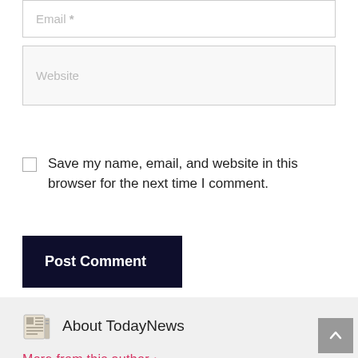Email *
Website
Save my name, email, and website in this browser for the next time I comment.
Post Comment
About TodayNews
More from this author >